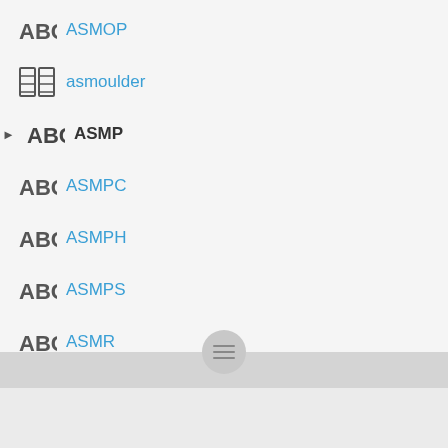ASMOP
asmoulder
ASMP
ASMPC
ASMPH
ASMPS
ASMR